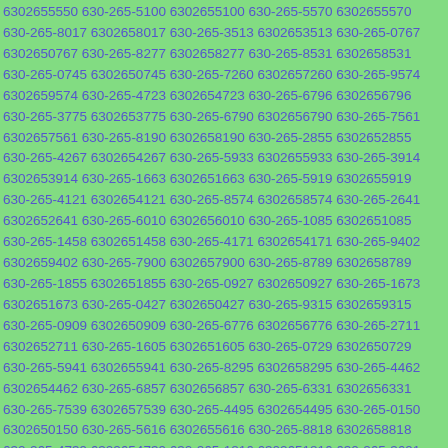6302655550 630-265-5100 6302655100 630-265-5570 6302655570 630-265-8017 6302658017 630-265-3513 6302653513 630-265-0767 6302650767 630-265-8277 6302658277 630-265-8531 6302658531 630-265-0745 6302650745 630-265-7260 6302657260 630-265-9574 6302659574 630-265-4723 6302654723 630-265-6796 6302656796 630-265-3775 6302653775 630-265-6790 6302656790 630-265-7561 6302657561 630-265-8190 6302658190 630-265-2855 6302652855 630-265-4267 6302654267 630-265-5933 6302655933 630-265-3914 6302653914 630-265-1663 6302651663 630-265-5919 6302655919 630-265-4121 6302654121 630-265-8574 6302658574 630-265-2641 6302652641 630-265-6010 6302656010 630-265-1085 6302651085 630-265-1458 6302651458 630-265-4171 6302654171 630-265-9402 6302659402 630-265-7900 6302657900 630-265-8789 6302658789 630-265-1855 6302651855 630-265-0927 6302650927 630-265-1673 6302651673 630-265-0427 6302650427 630-265-9315 6302659315 630-265-0909 6302650909 630-265-6776 6302656776 630-265-2711 6302652711 630-265-1605 6302651605 630-265-0729 6302650729 630-265-5941 6302655941 630-265-8295 6302658295 630-265-4462 6302654462 630-265-6857 6302656857 630-265-6331 6302656331 630-265-7539 6302657539 630-265-4495 6302654495 630-265-0150 6302650150 630-265-5616 6302655616 630-265-8818 6302658818 630-265-4739 6302654739 630-265-1816 6302651816 630-265-3691 6302653691 630-265-9175 6302659175 630-265-8307 6302658307 630-265-8155 6302658155 630-265-8261 6302658261 630-265-8458 6302658458 630-265-7233 6302657233 630-265-3416 6302653416 630-265-0045 6302650045 630-265-2718 6302652718 630-265-...